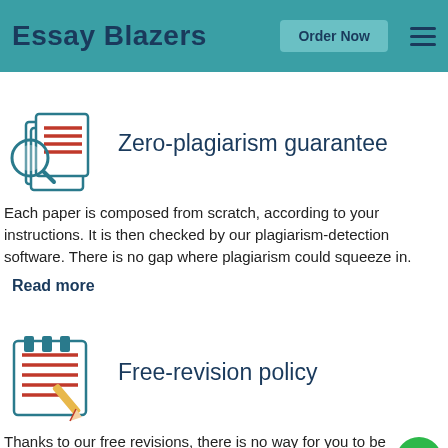Essay Blazers  Order Now
[Figure (illustration): Icon of a magnifying glass over stacked documents with red lines, representing plagiarism check]
Zero-plagiarism guarantee
Each paper is composed from scratch, according to your instructions. It is then checked by our plagiarism-detection software. There is no gap where plagiarism could squeeze in.
Read more
[Figure (illustration): Icon of a notepad with red lines and a pencil, representing revision policy]
Free-revision policy
Thanks to our free revisions, there is no way for you to be unsatisfied. We will work on your paper until you are completely